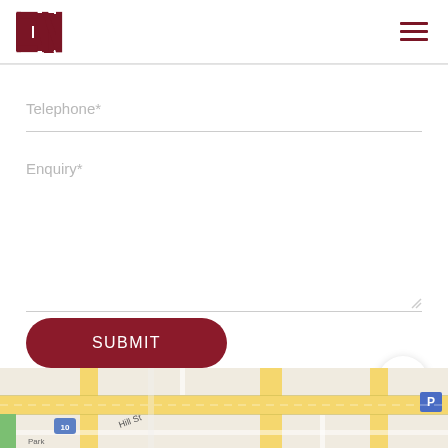Navigation header with logo and menu icon
Telephone*
Enquiry*
SUBMIT
[Figure (map): Google Maps screenshot showing street map with Hill St label, route 10 marker, and parking icon]